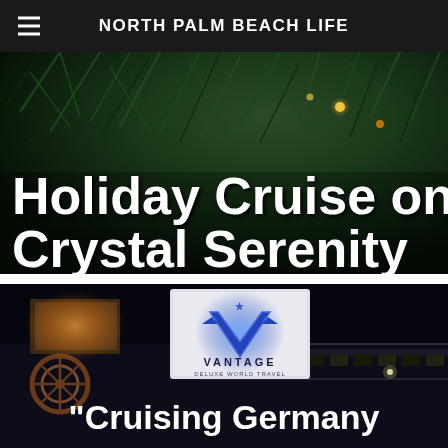NORTH PALM BEACH LIFE
[Figure (photo): Holiday cruise article hero image showing pine tree branches with lights in dark background, with white bold text overlay reading 'Holiday Cruise on Crystal Serenity']
Holiday Cruise on Crystal Serenity
[Figure (photo): Night photo of a cruise ship showing the illuminated Vantage logo sign (blue glowing V with star) on the exterior of a dark ship with windows and railing visible]
Cruising Germany